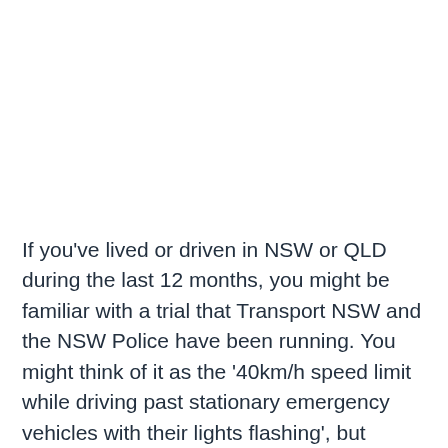If you've lived or driven in NSW or QLD during the last 12 months, you might be familiar with a trial that Transport NSW and the NSW Police have been running. You might think of it as the '40km/h speed limit while driving past stationary emergency vehicles with their lights flashing', but